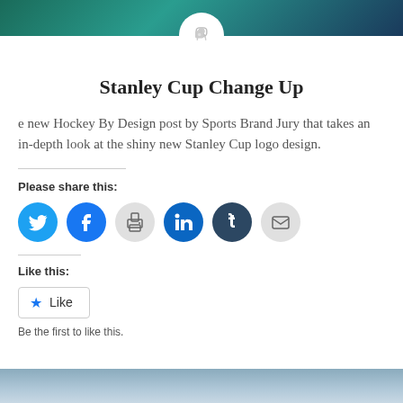[Figure (photo): Top banner with teal/green hockey-themed image and a camera placeholder avatar circle in the center]
Stanley Cup Change Up
e new Hockey By Design post by Sports Brand Jury that takes an in-depth look at the shiny new Stanley Cup logo design.
Please share this:
[Figure (infographic): Row of social share icon circles: Twitter (blue), Facebook (blue), Print (grey), LinkedIn (blue), Tumblr (dark navy), Email (grey)]
Like this:
[Figure (screenshot): Like button with blue star icon and 'Like' text in a bordered box]
Be the first to like this.
[Figure (photo): Bottom banner with sky/clouds image]